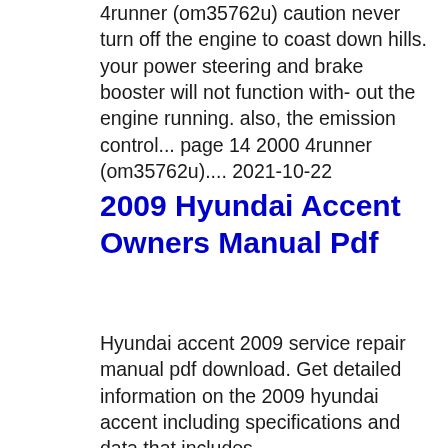4runner (om35762u) caution never turn off the engine to coast down hills. your power steering and brake booster will not function with- out the engine running. also, the emission control... page 14 2000 4runner (om35762u).... 2021-10-22
2009 Hyundai Accent Owners Manual Pdf
Hyundai accent 2009 service repair manual pdf download. Get detailed information on the 2009 hyundai accent including specifications and data that includes...